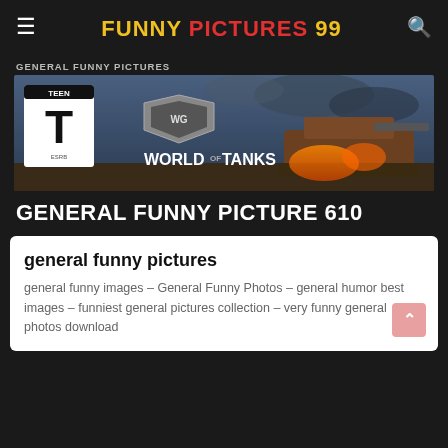FUNNY PICTURES 99
GENERAL FUNNY PICTURES
[Figure (illustration): World of Tanks banner advertisement showing a Teen ESRB rating, World of Tanks logo, and a tank in a battle scene with fire and smoke]
GENERAL FUNNY PICTURE 610
general funny pictures
general funny images – General Funny Photos – general humor best images – funniest general pictures collection – very funny general photos download